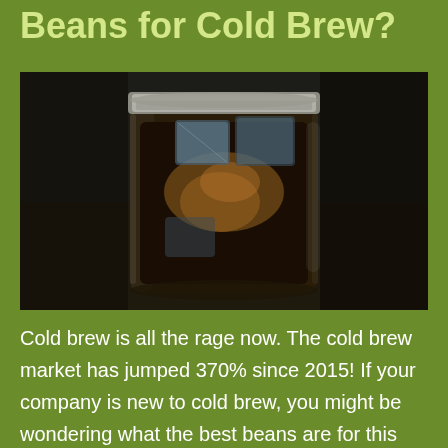Beans for Cold Brew?
[Figure (photo): A mason jar filled with cold brew coffee and ice, photographed on a dark wooden surface with a blurred background. The jar has a metallic lid ring and the liquid is dark brown with amber highlights from ice cubes.]
Cold brew is all the rage now. The cold brew market has jumped 370% since 2015! If your company is new to cold brew, you might be wondering what the best beans are for this